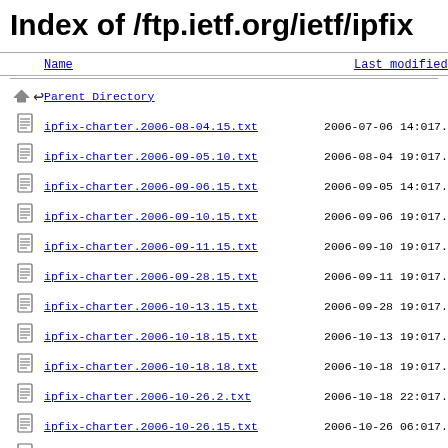Index of /ftp.ietf.org/ietf/ipfix
| Name | Last modified | Si |
| --- | --- | --- |
| Parent Directory |  |  |
| ipfix-charter.2006-08-04.15.txt | 2006-07-06 14:01 | 7.3 |
| ipfix-charter.2006-09-05.10.txt | 2006-08-04 19:01 | 7.3 |
| ipfix-charter.2006-09-06.15.txt | 2006-09-05 14:01 | 7.5 |
| ipfix-charter.2006-09-10.15.txt | 2006-09-06 19:01 | 7.7 |
| ipfix-charter.2006-09-11.15.txt | 2006-09-10 19:01 | 7.7 |
| ipfix-charter.2006-09-28.15.txt | 2006-09-11 19:01 | 7.7 |
| ipfix-charter.2006-10-13.15.txt | 2006-09-28 19:01 | 7.7 |
| ipfix-charter.2006-10-18.15.txt | 2006-10-13 19:01 | 7.8 |
| ipfix-charter.2006-10-18.18.txt | 2006-10-18 19:01 | 7.9 |
| ipfix-charter.2006-10-26.2.txt | 2006-10-18 22:01 | 7.9 |
| ipfix-charter.2006-10-26.15.txt | 2006-10-26 06:01 | 7.9 |
| ipfix-charter.2006-11-09.18.txt | 2006-10-26 19:01 | 7.9 |